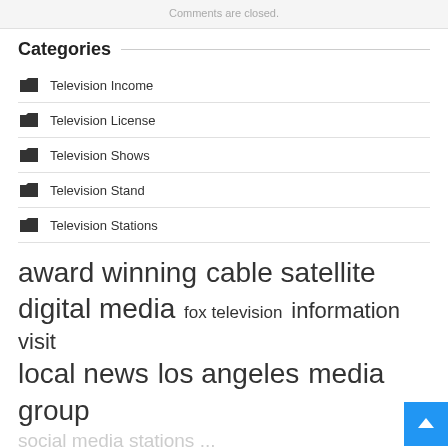Comments are closed.
Categories
Television Income
Television License
Television Shows
Television Stand
Television Stations
award winning  cable satellite  digital media  fox television  information visit  local news  los angeles  media group  social media  stations  ...
[Figure (other): Back to top button (blue arrow up)]